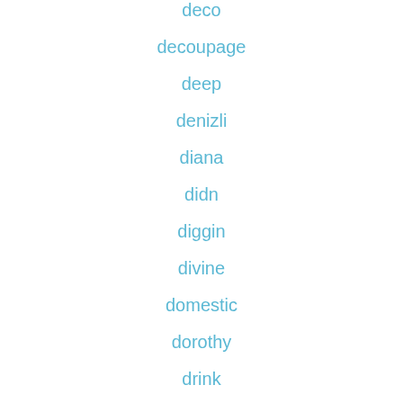deco
decoupage
deep
denizli
diana
didn
diggin
divine
domestic
dorothy
drink
drip
dusky
eames
eang